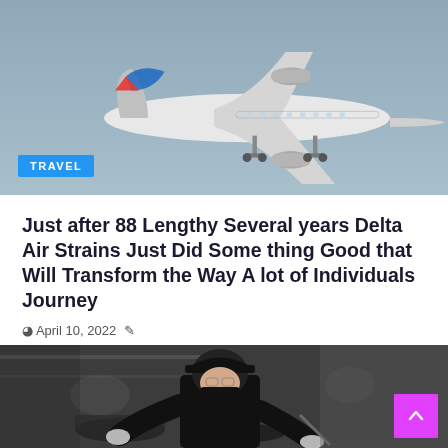[Figure (photo): Airplane (Delta Air Lines) approaching landing against a grey-blue sky, viewed from below-front angle]
TRAVEL
Just after 88 Lengthy Several years Delta Air Strains Just Did Some thing Good that Will Transform the Way A lot of Individuals Journey
April 10, 2022
...
[Figure (photo): Person in black uniform, black cap, and black face mask working in a restaurant kitchen, cooking food in pots and pans]